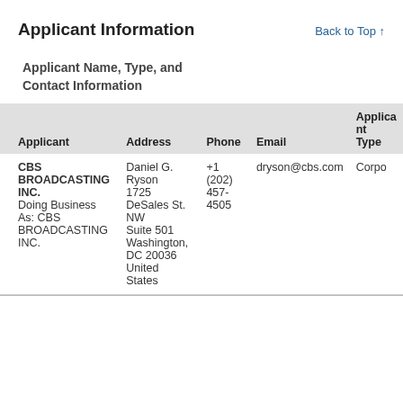Applicant Information
Back to Top ↑
Applicant Name, Type, and Contact Information
| Applicant | Address | Phone | Email | Applicant Type |
| --- | --- | --- | --- | --- |
| CBS BROADCASTING INC.
Doing Business As: CBS BROADCASTING INC. | Daniel G. Ryson
1725 DeSales St. NW
Suite 501
Washington, DC 20036
United States | +1 (202) 457-4505 | dryson@cbs.com | Corpo... |